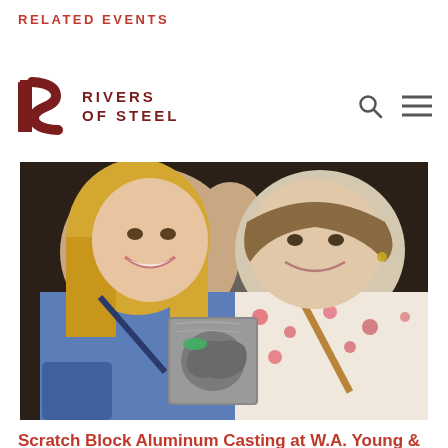RELATED EVENTS
[Figure (logo): Rivers of Steel logo with stylized R icon and text 'RIVERS OF STEEL' in dark red, with search and menu icons on the right]
[Figure (photo): Two women smiling, one holding a small aluminum casting block with a relief design on it. The woman on the left has blonde hair and is wearing a blue top with a crossbody bag. The woman on the right is wearing a floral top and has a tan crossbody bag.]
Scratch Block Aluminum Casting at W.A. Young & Sons Foundry and Machine Shop